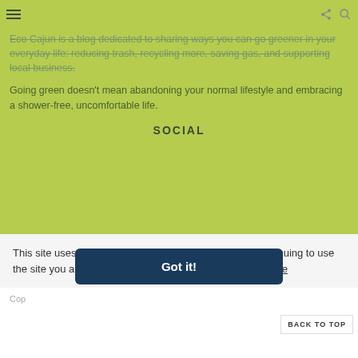☰ [share icon] [search icon]
Eco Cajun is a blog dedicated to sharing ways you can go greener in your everyday life: reducing trash, recycling more, saving gas, and supporting local business.
Going green doesn't mean abandoning your normal lifestyle and embracing a shower-free, uncomfortable life.
SOCIAL
This site uses Google Analytics to analyze traffic. By continuing to use the site you are agreeing to our use of cookies.  Learn more
Got it!
Cop[yright] ... BACK TO TOP